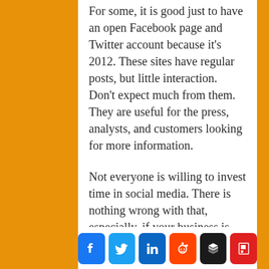For some, it is good just to have an open Facebook page and Twitter account because it's 2012. These sites have regular posts, but little interaction.  Don't expect much from them.  They are useful for the press, analysts, and customers looking for more information.

Not everyone is willing to invest time in social media. There is nothing wrong with that, especially, if your business is doing well.
[Figure (infographic): Social media sharing icons: Facebook (blue), Twitter (light blue), LinkedIn (dark blue), Reddit (orange-red), Buffer/Stacker (black), Flipboard (red)]